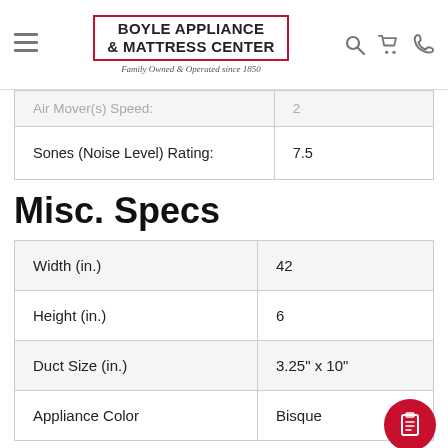Boyle Appliance & Mattress Center — Family Owned & Operated since 1850
| Air Mover(s) Speed: | 2 |
| Sones (Noise Level) Rating: | 7.5 |
Misc. Specs
| Width (in.) | 42 |
| Height (in.) | 6 |
| Duct Size (in.) | 3.25" x 10" |
| Appliance Color | Bisque |